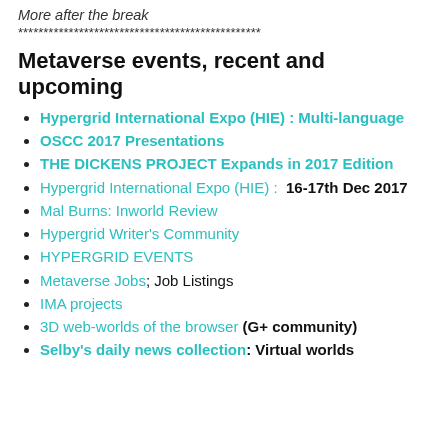More after the break
************************************************
Metaverse events, recent and upcoming
Hypergrid International Expo (HIE) : Multi-language
OSCC 2017 Presentations
THE DICKENS PROJECT Expands in 2017 Edition
Hypergrid International Expo (HIE) :  16-17th Dec 2017
Mal Burns: Inworld Review
Hypergrid Writer's Community
HYPERGRID EVENTS
Metaverse Jobs; Job Listings
IMA projects
3D web-worlds of the browser (G+ community)
Selby's daily news collection:  Virtual worlds